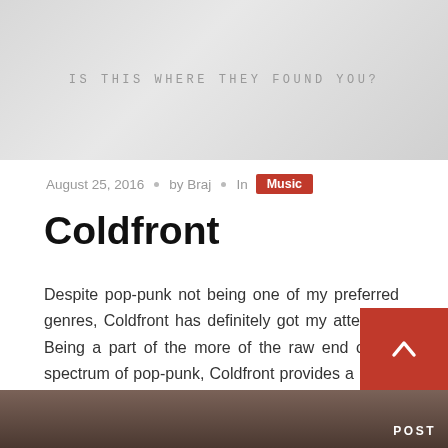[Figure (photo): A light grey textured banner with the text 'IS THIS WHERE THEY FOUND YOU?' in grey monospaced uppercase letters centered in the image.]
August 25, 2016  •  by Braj  •  In  Music
Coldfront
Despite pop-punk not being one of my preferred genres, Coldfront has definitely got my attention. Being a part of the more of the raw end of the spectrum of pop-punk, Coldfront provides a break from some of the overly whiney bands in the genre. Whether or not pop-punk is for you, Coldfront just might be.
[Figure (photo): A dark brownish-toned photograph partially visible at the bottom of the page with a red POST label in the bottom right corner.]